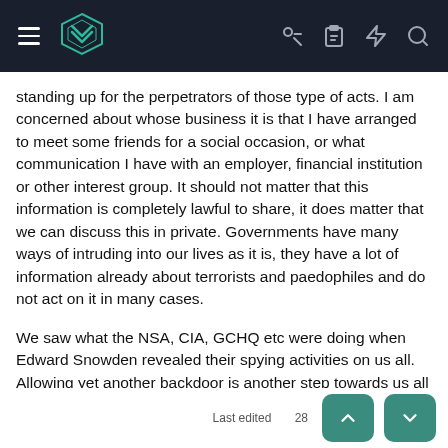Navigation header with logo and icons
standing up for the perpetrators of those type of acts. I am concerned about whose business it is that I have arranged to meet some friends for a social occasion, or what communication I have with an employer, financial institution or other interest group. It should not matter that this information is completely lawful to share, it does matter that we can discuss this in private. Governments have many ways of intruding into our lives as it is, they have a lot of information already about terrorists and paedophiles and do not act on it in many cases.
We saw what the NSA, CIA, GCHQ etc were doing when Edward Snowden revealed their spying activities on us all. Allowing yet another backdoor is another step towards us all having no privacy whatsoever. It is sad to hear 'I haven't got anything to hide' being said still.
Last edited 28